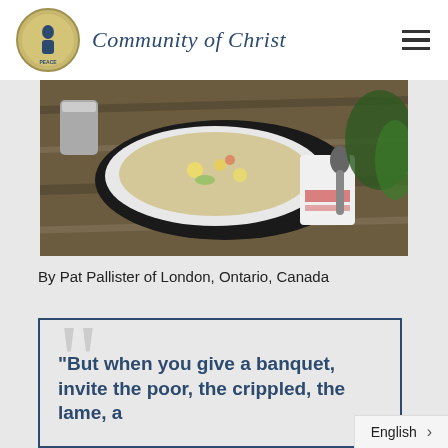Community of Christ
[Figure (photo): A bowl of soup (risotto or vegetable soup) on a wooden table with a spoon resting on a white cloth napkin with red embroidery. A metal cup is in the background.]
By Pat Pallister of London, Ontario, Canada
“But when you give a banquet, invite the poor, the crippled, the lame, a…